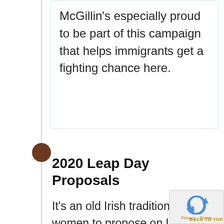McGillin’s especially proud to be part of this campaign that helps immigrants get a fighting chance here.
2020 Leap Day Proposals
It’s an old Irish tradition for women to propose on Leap Day. And where better than McGillin’s Olde Ale House, where there’s mating magic.